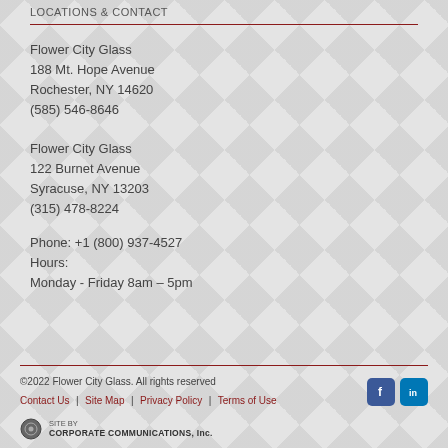LOCATIONS & CONTACT
Flower City Glass
188 Mt. Hope Avenue
Rochester, NY 14620
(585) 546-8646
Flower City Glass
122 Burnet Avenue
Syracuse, NY 13203
(315) 478-8224
Phone: +1 (800) 937-4527
Hours:
Monday - Friday 8am – 5pm
©2022 Flower City Glass. All rights reserved
Contact Us | Site Map | Privacy Policy | Terms of Use
SITE BY CORPORATE COMMUNICATIONS, Inc.